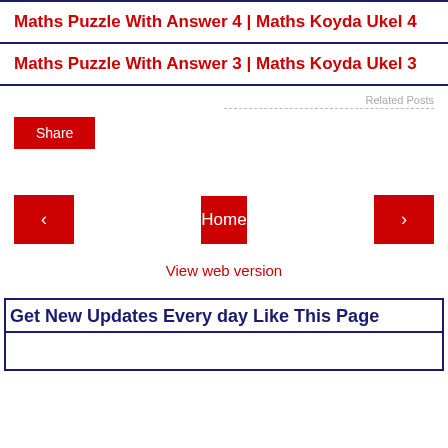Maths Puzzle With Answer 4 | Maths Koyda Ukel 4
Maths Puzzle With Answer 3 | Maths Koyda Ukel 3
Related Posts
Share
Home
View web version
Get New Updates Every day Like This Page